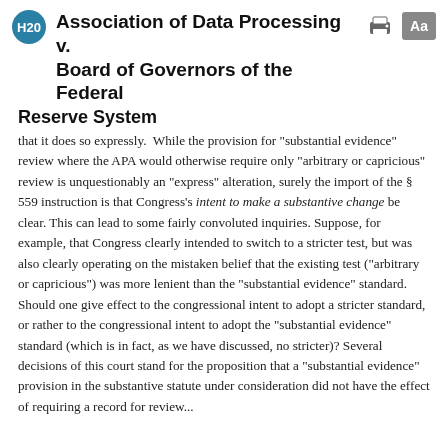H20 Association of Data Processing v. Board of Governors of the Federal Reserve System
that it does so expressly. While the provision for "substantial evidence" review where the APA would otherwise require only "arbitrary or capricious" review is unquestionably an "express" alteration, surely the import of the § 559 instruction is that Congress's intent to make a substantive change be clear. This can lead to some fairly convoluted inquiries. Suppose, for example, that Congress clearly intended to switch to a stricter test, but was also clearly operating on the mistaken belief that the existing test ("arbitrary or capricious") was more lenient than the "substantial evidence" standard. Should one give effect to the congressional intent to adopt a stricter standard, or rather to the congressional intent to adopt the "substantial evidence" standard (which is in fact, as we have discussed, no stricter)? Several decisions of this court stand for the proposition that a "substantial evidence" provision in the substantive statute under consideration did not have the effect of requiring a record for review...